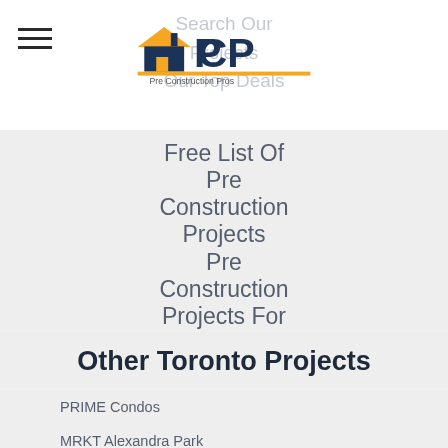[Figure (logo): Pre Construction Pros logo with house icon and orange/navy text]
Search Our Projects
Our Top Deals
Free List Of Pre Construction Projects
Pre Construction Projects For Sale In Toronto
Other Toronto Projects
PRIME Condos
MRKT Alexandra Park
The Dupont